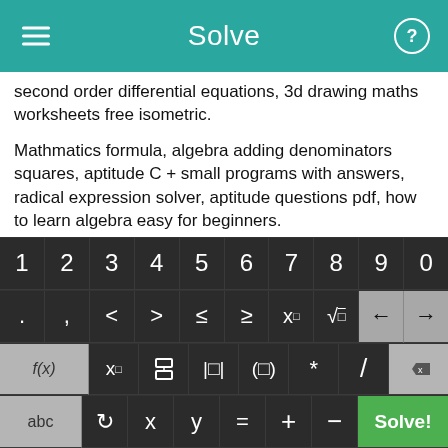Solve
second order differential equations, 3d drawing maths worksheets free isometric.
Mathmatics formula, algebra adding denominators squares, aptitude C + small programs with answers, radical expression solver, aptitude questions pdf, how to learn algebra easy for beginners.
Simultaneous equations with parabola, binomial expansion, percentages for dummies, online help simplifying radicals,
[Figure (screenshot): A math calculator keyboard with rows of digits 1-0, symbol keys (<, >, ≤, ≥, x^□, √□, back/forward arrows), function keys (f(x), x_□, fraction, absolute value, parentheses, *, /, delete), and bottom row (abc, rotate, x, y, =, +, -, Solve! button in green).]